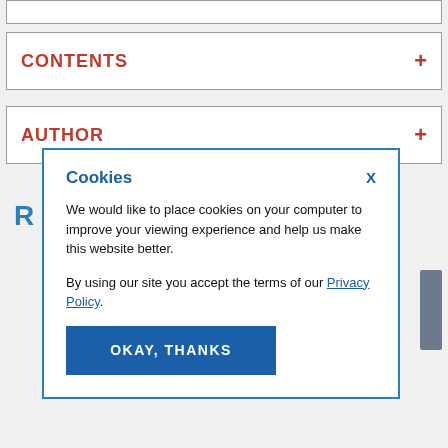CONTENTS +
AUTHOR +
[Figure (screenshot): Cookie consent modal dialog with blue border. Title 'Cookies' in bold blue, X close button. Body text: 'We would like to place cookies on your computer to improve your viewing experience and help us make this website better. By using our site you accept the terms of our Privacy Policy.' Blue button labeled 'OKAY, THANKS'.]